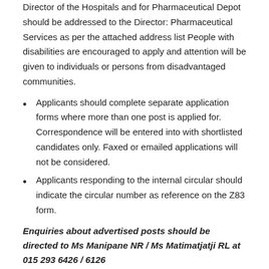Director of the Hospitals and for Pharmaceutical Depot should be addressed to the Director: Pharmaceutical Services as per the attached address list People with disabilities are encouraged to apply and attention will be given to individuals or persons from disadvantaged communities.
Applicants should complete separate application forms where more than one post is applied for. Correspondence will be entered into with shortlisted candidates only. Faxed or emailed applications will not be considered.
Applicants responding to the internal circular should indicate the circular number as reference on the Z83 form.
Enquiries about advertised posts should be directed to Ms Manipane NR / Ms Matimatjatji RL at 015 293 6426 / 6126
Botlokwa Hospital
0155527 8000
Private Bag X 544